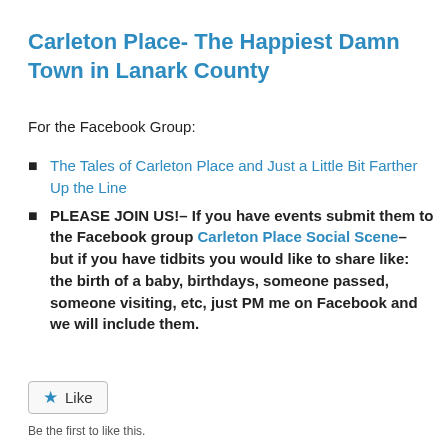Carleton Place- The Happiest Damn Town in Lanark County
For the Facebook Group:
The Tales of Carleton Place and Just a Little Bit Farther Up the Line
PLEASE JOIN US!– If you have events submit them to the Facebook group Carleton Place Social Scene– but if you have tidbits you would like to share like: the birth of a baby, birthdays, someone passed, someone visiting, etc, just PM me on Facebook and we will include them.
[Figure (other): Like button widget with star icon and 'Like' text]
Be the first to like this.